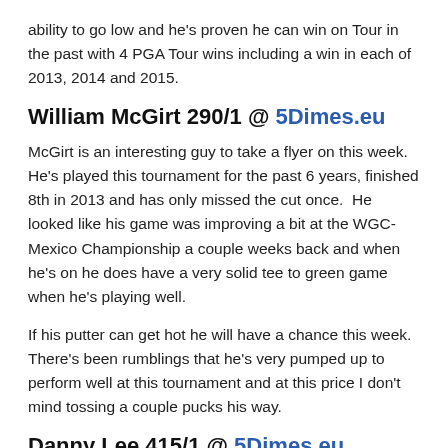ability to go low and he's proven he can win on Tour in the past with 4 PGA Tour wins including a win in each of 2013, 2014 and 2015.
William McGirt 290/1 @ 5Dimes.eu
McGirt is an interesting guy to take a flyer on this week.  He's played this tournament for the past 6 years, finished 8th in 2013 and has only missed the cut once.  He looked like his game was improving a bit at the WGC-Mexico Championship a couple weeks back and when he's on he does have a very solid tee to green game when he's playing well.
If his putter can get hot he will have a chance this week.  There's been rumblings that he's very pumped up to perform well at this tournament and at this price I don't mind tossing a couple pucks his way.
Danny Lee 415/1 @ 5Dimes.eu